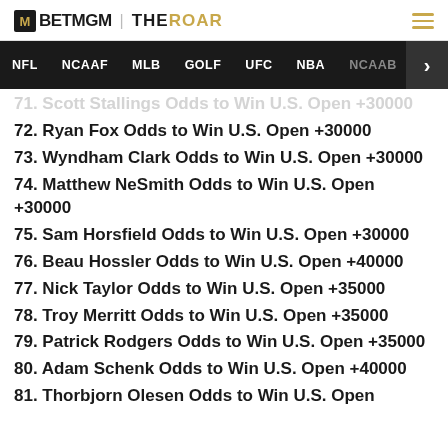BETMGM | THEROAR
NFL  NCAAF  MLB  GOLF  UFC  NBA  NCAAB
71. [Scott Stallings] Odds to Win U.S. Open +30000
72. Ryan Fox Odds to Win U.S. Open +30000
73. Wyndham Clark Odds to Win U.S. Open +30000
74. Matthew NeSmith Odds to Win U.S. Open +30000
75. Sam Horsfield Odds to Win U.S. Open +30000
76. Beau Hossler Odds to Win U.S. Open +40000
77. Nick Taylor Odds to Win U.S. Open +35000
78. Troy Merritt Odds to Win U.S. Open +35000
79. Patrick Rodgers Odds to Win U.S. Open +35000
80. Adam Schenk Odds to Win U.S. Open +40000
81. Thorbjorn Olesen Odds to Win U.S. Open +30000